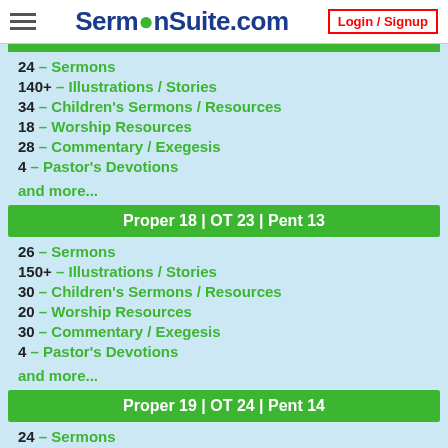SermonSuite.com | Login / Signup
24 – Sermons
140+ – Illustrations / Stories
34 – Children's Sermons / Resources
18 – Worship Resources
28 – Commentary / Exegesis
4 – Pastor's Devotions
and more...
Proper 18 | OT 23 | Pent 13
26 – Sermons
150+ – Illustrations / Stories
30 – Children's Sermons / Resources
20 – Worship Resources
30 – Commentary / Exegesis
4 – Pastor's Devotions
and more...
Proper 19 | OT 24 | Pent 14
24 – Sermons
160+ – Illustrations / Stories